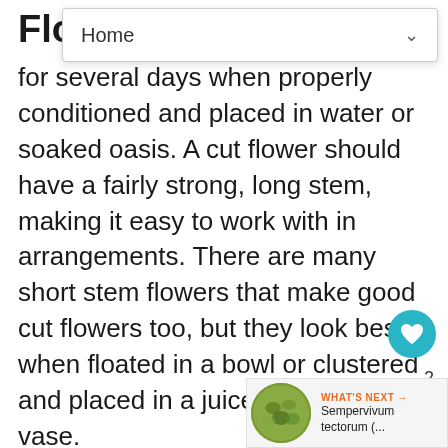Flo...m
for several days when properly conditioned and placed in water or soaked oasis. A cut flower should have a fairly strong, long stem, making it easy to work with in arrangements. There are many short stem flowers that make good cut flowers too, but they look best when floated in a bowl or clustered and placed in a juice glass size vase.
For best results, always cut flowers early in the morning, preferably before dew has had a chance to dry. Always make cuts with a sha knife or pruners and plunge flowers or folia into a bucket of water. Store in a cool place until you are ready to work with them. keep flowers from opening. Always re-cut